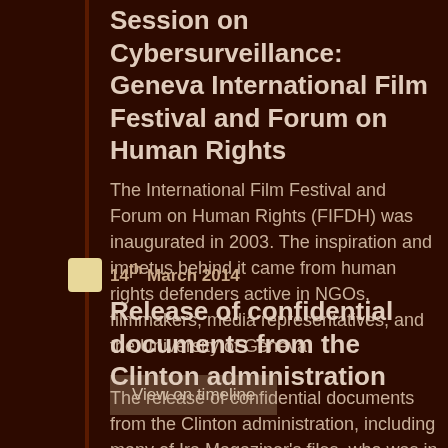Session on Cybersurveillance: Geneva International Film Festival and Forum on Human Rights
The International Film Festival and Forum on Human Rights (FIFDH) was inaugurated in 2003. The inspiration and impetus behind it came from human rights defenders active in NGOs, filmmakers, media representatives, and the University of Geneva.
View on timeline
14th March 2014
Release of confidential documents from the Clinton administration
The release of confidential documents from the Clinton administration, including many of Ira Magaziner's files, who was in charge of electronic commerce and deeply involved in setting up ICANN back in 1998. The files related to the history of IG might give a better view of the future